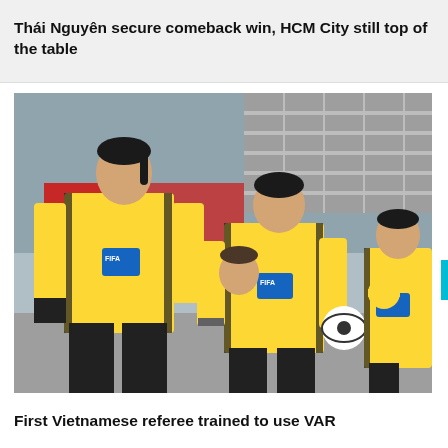Thái Nguyên secure comeback win, HCM City still top of the table
[Figure (photo): Three female FIFA referees wearing yellow shirts and black pants walking together at a football stadium. The central referee is holding a football. Other people visible in the background.]
First Vietnamese referee trained to use VAR